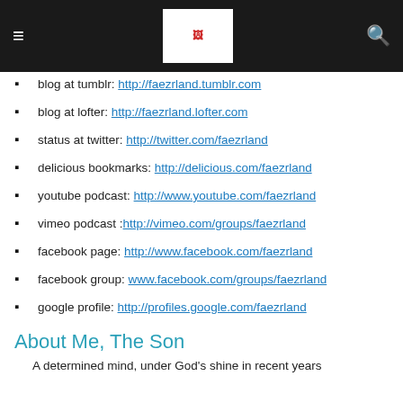Navigation header with logo
blog at tumblr: http://faezrland.tumblr.com
blog at lofter: http://faezrland.lofter.com
status at twitter: http://twitter.com/faezrland
delicious bookmarks: http://delicious.com/faezrland
youtube podcast: http://www.youtube.com/faezrland
vimeo podcast :http://vimeo.com/groups/faezrland
facebook page: http://www.facebook.com/faezrland
facebook group: www.facebook.com/groups/faezrland
google profile: http://profiles.google.com/faezrland
About Me, The Son
A determined mind, under God's shine in recent years